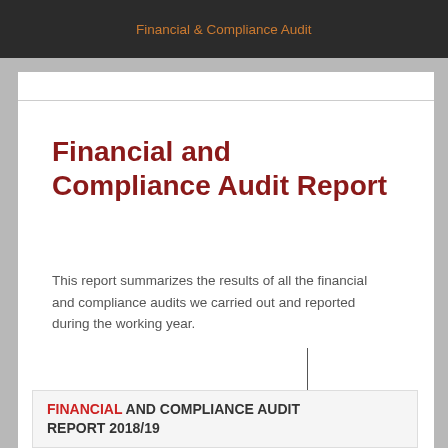Financial & Compliance Audit
Financial and Compliance Audit Report
This report summarizes the results of all the financial and compliance audits we carried out and reported during the working year.
FINANCIAL AND COMPLIANCE AUDIT REPORT 2018/19